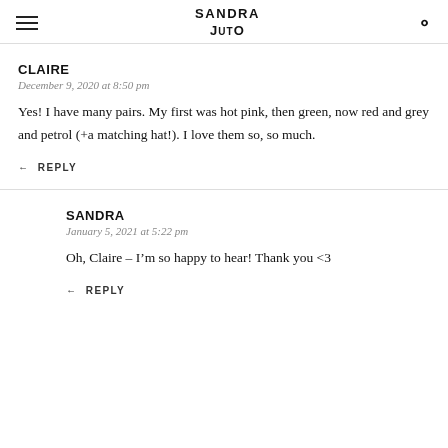SANDRA JUTO
CLAIRE
December 9, 2020 at 8:50 pm
Yes! I have many pairs. My first was hot pink, then green, now red and grey and petrol (+a matching hat!). I love them so, so much.
REPLY
SANDRA
January 5, 2021 at 5:22 pm
Oh, Claire – I'm so happy to hear! Thank you <3
REPLY